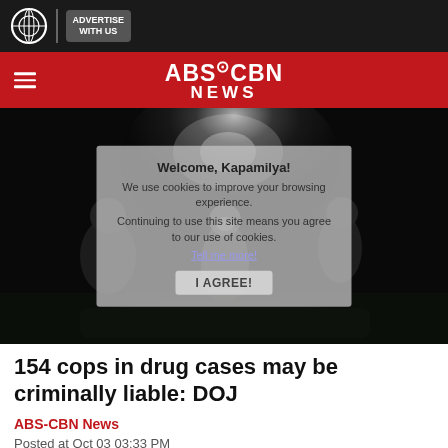ABS-CBN NEWS
[Figure (photo): Dark nighttime crime scene photo showing figures crouched over a body on the ground, illuminated by a bright overhead light. A cookie consent overlay is visible on the image reading: Welcome, Kapamilya! We use cookies to improve your browsing experience. Continuing to use this site means you agree to our use of cookies. Tell me more. I AGREE!]
154 cops in drug cases may be criminally liable: DOJ
ABS-CBN News
Posted at Oct 03 03:33 PM